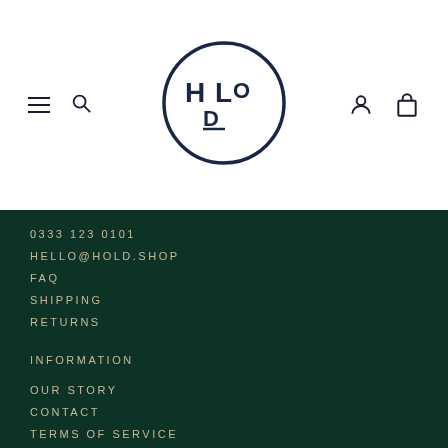[Figure (logo): HLOD logo — circle with stylized letters H, L, O, D arranged in a square pattern, dark navy on white]
0333 123 0101
HELLO@HOLD.SHOP
FAQ
SHIPPING
RETURNS
INFORMATION
OUR STORY
CONTACT
TERMS OF SERVICE
STORE LOCATION & OPENING HOURS
OUTLET